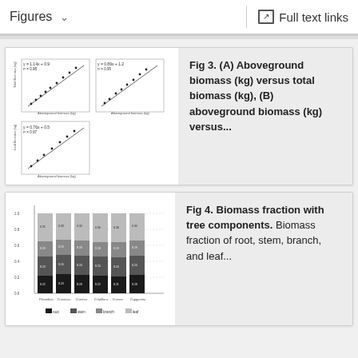Figures   ∨   Full text links
[Figure (scatter-plot): Three scatter plots showing aboveground biomass vs total biomass (A, B) and another relationship (C) with regression lines]
Fig 3. (A) Aboveground biomass (kg) versus total biomass (kg), (B) aboveground biomass (kg) versus...
[Figure (stacked-bar-chart): Stacked bar chart showing biomass fraction with tree components (root, stem, branch, leaf) across different categories]
Fig 4. Biomass fraction with tree components. Biomass fraction of root, stem, branch, and leaf...